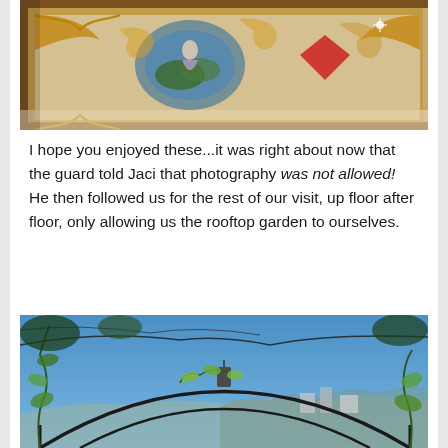[Figure (photo): Close-up photograph of an ornate painted ceiling/fresco with decorative gold framing, colorful baroque-style artwork including figures and floral motifs, viewed from below at an angle.]
I hope you enjoyed these...it was right about now that the guard told Jaci that photography was not allowed! He then followed us for the rest of our visit, up floor after floor, only allowing us the rooftop garden to ourselves.
[Figure (photo): Photograph of a rooftop garden with metal arch/pergola structures against a bright blue sky, with climbing plants and vines. City buildings and hills visible in the background.]